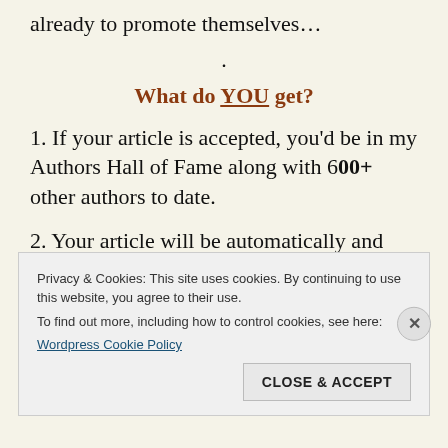already to promote themselves…
.
What do YOU get?
1. If your article is accepted, you'd be in my Authors Hall of Fame along with 600+ other authors to date.
2. Your article will be automatically and manually broadcast once to 14,500+ followers / connections of my
Privacy & Cookies: This site uses cookies. By continuing to use this website, you agree to their use.
To find out more, including how to control cookies, see here:
Wordpress Cookie Policy
CLOSE & ACCEPT